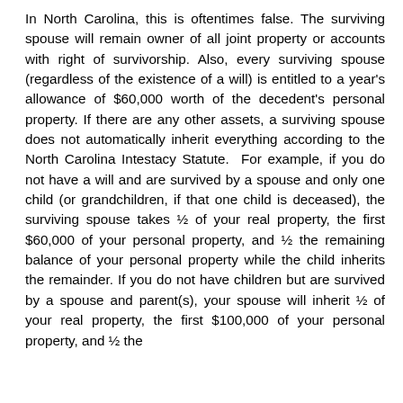In North Carolina, this is oftentimes false. The surviving spouse will remain owner of all joint property or accounts with right of survivorship. Also, every surviving spouse (regardless of the existence of a will) is entitled to a year's allowance of $60,000 worth of the decedent's personal property. If there are any other assets, a surviving spouse does not automatically inherit everything according to the North Carolina Intestacy Statute. For example, if you do not have a will and are survived by a spouse and only one child (or grandchildren, if that one child is deceased), the surviving spouse takes ½ of your real property, the first $60,000 of your personal property, and ½ the remaining balance of your personal property while the child inherits the remainder. If you do not have children but are survived by a spouse and parent(s), your spouse will inherit ½ of your real property, the first $100,000 of your personal property, and ½ the